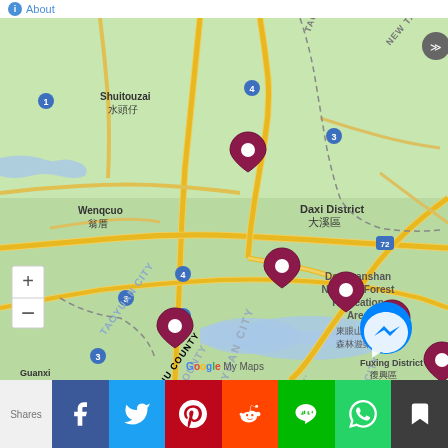About
[Figure (map): Google My Maps showing Daxi District area in Taoyuan City, Taiwan, with multiple dark red map pins marking locations. Visible place names include Shuitouzai 水頭仔, Wenqcuo 翁厝, Daxi District 大溪區, Dongyanshan National Forest Recreation Area 東眼山國家森林遊樂區, Guanxi 關西, Fuxing District 復興區, TAOYUAN CITY, HSINCHU COUNTY, TAOYUAN CITY, HSINCHU COUNTY labels. Road network with yellow and orange roads. Blue water bodies visible. Route numbers: 1, 3, 4, 72.]
Shares | Facebook | Twitter | Pinterest | Reddit | Line | WhatsApp | Bookmark